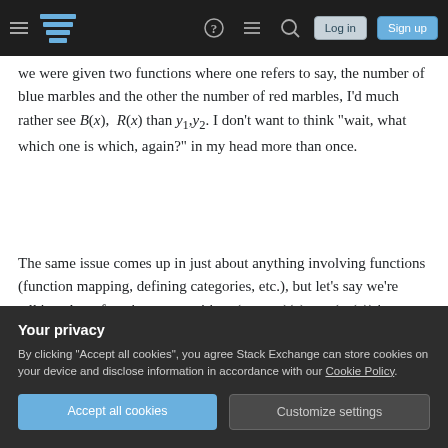Stack Exchange navigation bar with hamburger menu, logo, help, chat, search icons, Log in and Sign up buttons
we were given two functions where one refers to say, the number of blue marbles and the other the number of red marbles, I'd much rather see B(x), R(x) than y1, y2. I don't want to think "wait, what which one is which, again?" in my head more than once.
The same issue comes up in just about anything involving functions (function mapping, defining categories, etc.), but let's say we're talking about function composition. (y1 ∘ y2)(x) = y1(y2(x)) is
Your privacy
By clicking "Accept all cookies", you agree Stack Exchange can store cookies on your device and disclose information in accordance with our Cookie Policy.
Accept all cookies  Customize settings